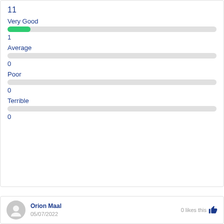11
Very Good
1
Average
0
Poor
0
Terrible
0
Orion Maal
05/07/2022
0 likes this